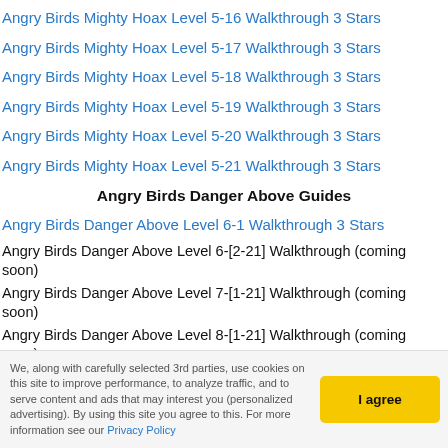Angry Birds Mighty Hoax Level 5-16 Walkthrough 3 Stars
Angry Birds Mighty Hoax Level 5-17 Walkthrough 3 Stars
Angry Birds Mighty Hoax Level 5-18 Walkthrough 3 Stars
Angry Birds Mighty Hoax Level 5-19 Walkthrough 3 Stars
Angry Birds Mighty Hoax Level 5-20 Walkthrough 3 Stars
Angry Birds Mighty Hoax Level 5-21 Walkthrough 3 Stars
Angry Birds Danger Above Guides
Angry Birds Danger Above Level 6-1 Walkthrough 3 Stars
Angry Birds Danger Above Level 6-[2-21] Walkthrough (coming soon)
Angry Birds Danger Above Level 7-[1-21] Walkthrough (coming soon)
Angry Birds Danger Above Level 8-[1-21] Walkthrough (coming soon)
Knowing the Birds – When first starting Angry Birds it is a little
We, along with carefully selected 3rd parties, use cookies on this site to improve performance, to analyze traffic, and to serve content and ads that may interest you (personalized advertising). By using this site you agree to this. For more information see our Privacy Policy